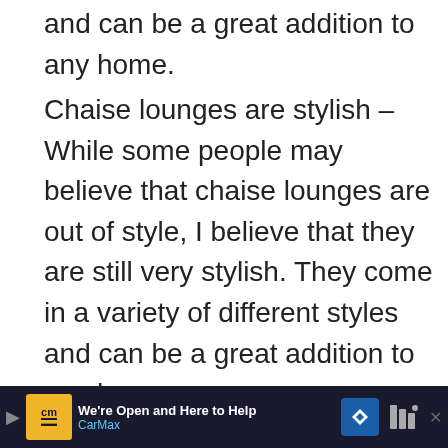and can be a great addition to any home.
Chaise lounges are stylish – While some people may believe that chaise lounges are out of style, I believe that they are still very stylish. They come in a variety of different styles and can be a great addition to any home.
Chaise lounges are versatile – Chaise lounges are extremely versatile and can be used in a variety of different ways. They can be...
[Figure (screenshot): Social media interaction overlay with heart/like button showing count 1 and a share button]
[Figure (screenshot): What's Next overlay with Landscaping the Yard article thumbnail]
[Figure (screenshot): CarMax advertisement banner: We're Open and Here to Help, CarMax]